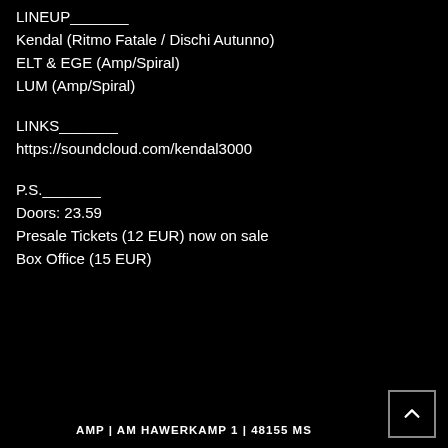LINEUP_______
Kendal (Ritmo Fatale / Dischi Autunno)
ELT & EGE (Amp/Spiral)
LUM (Amp/Spiral)
LINKS_______
https://soundcloud.com/kendal3000
P.S._______
Doors: 23.59
Presale Tickets (12 EUR) now on sale
Box Office (15 EUR)
AMP | AM HAWERKAMP 1 | 48155 MS